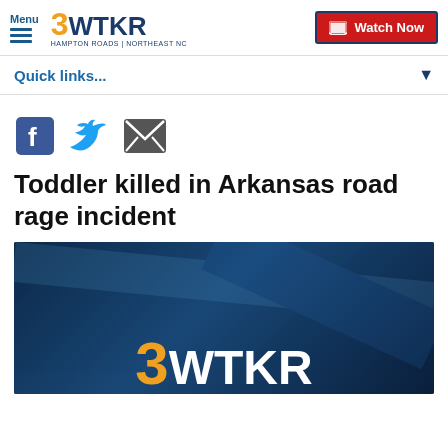3WTKR — HAMPTON ROADS | NORTHEAST NC — Watch Now
Quick links...
[Figure (other): Social sharing icons: Facebook, Twitter, Email]
Toddler killed in Arkansas road rage incident
[Figure (screenshot): 3WTKR logo on dark blue background — news broadcast thumbnail]